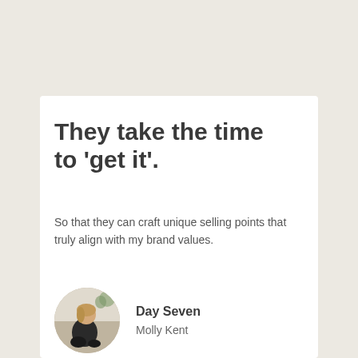They take the time to 'get it'.
So that they can craft unique selling points that truly align with my brand values.
[Figure (photo): Circular avatar photo of a woman in black outfit sitting casually]
Day Seven
Molly Kent